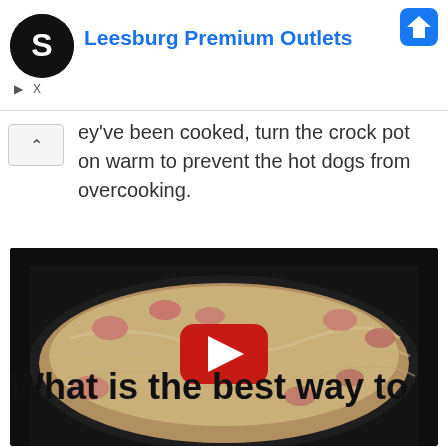[Figure (screenshot): Advertisement banner for Leesburg Premium Outlets with circular logo and Facebook icon]
ey've been cooked, turn the crock pot on warm to prevent the hot dogs from overcooking.
[Figure (photo): YouTube video thumbnail showing hot dogs and sauerkraut cooking in a crock pot, with a red YouTube play button overlay]
What is the best way to